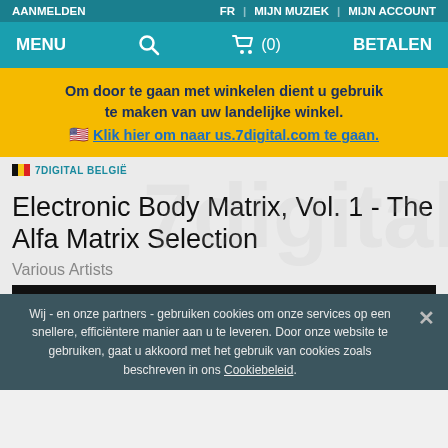AANMELDEN | FR | MIJN MUZIEK | MIJN ACCOUNT
MENU | search | cart (0) | BETALEN
Om door te gaan met winkelen dient u gebruik te maken van uw landelijke winkel. Klik hier om naar us.7digital.com te gaan.
7DIGITAL BELGIË
Electronic Body Matrix, Vol. 1 - The Alfa Matrix Selection
Various Artists
Wij - en onze partners - gebruiken cookies om onze services op een snellere, efficiëntere manier aan u te leveren. Door onze website te gebruiken, gaat u akkoord met het gebruik van cookies zoals beschreven in ons Cookiebeleid.